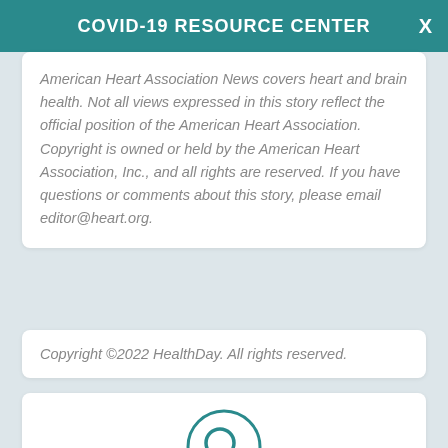COVID-19 RESOURCE CENTER
American Heart Association News covers heart and brain health. Not all views expressed in this story reflect the official position of the American Heart Association. Copyright is owned or held by the American Heart Association, Inc., and all rights are reserved. If you have questions or comments about this story, please email editor@heart.org.
Copyright ©2022 HealthDay. All rights reserved.
[Figure (illustration): Search icon (magnifying glass) in teal circle above 'Find a Health Plan' label]